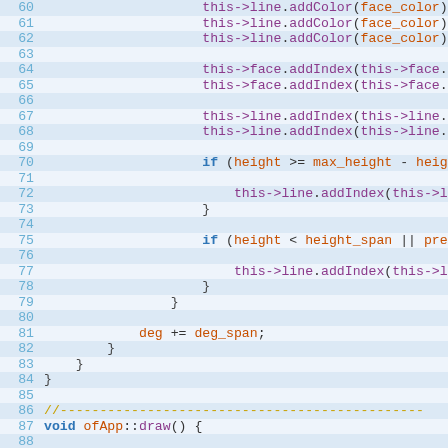[Figure (screenshot): Code editor screenshot showing C++ source code lines 60-89, with syntax highlighting. Line numbers in blue on alternating blue-tinted background rows. Code includes method calls like this->line.addColor, this->face.addIndex, this->line.addIndex, conditionals with if statements, deg += deg_span, closing braces, a comment divider, void ofApp::draw() function declaration, and this->cam.begin().]